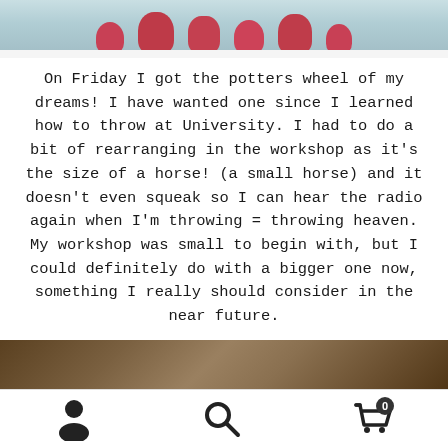[Figure (photo): Top portion of a photo showing pottery/ceramic pieces on a shelf with a light blue-teal background]
On Friday I got the potters wheel of my dreams! I have wanted one since I learned how to throw at University. I had to do a bit of rearranging in the workshop as it's the size of a horse! (a small horse) and it doesn't even squeak so I can hear the radio again when I'm throwing = throwing heaven. My workshop was small to begin with, but I could definitely do with a bigger one now, something I really should consider in the near future.
[Figure (photo): Bottom portion of a photo showing what appears to be a potter's wheel or clay surface in brown/earthy tones]
Navigation bar with person icon, search icon, and shopping cart icon with badge showing 0